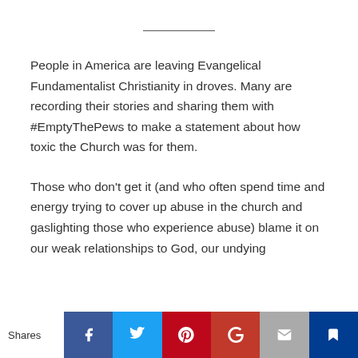People in America are leaving Evangelical Fundamentalist Christianity in droves. Many are recording their stories and sharing them with #EmptyThePews to make a statement about how toxic the Church was for them.
Those who don't get it (and who often spend time and energy trying to cover up abuse in the church and gaslighting those who experience abuse) blame it on our weak relationships to God, our undying
Shares